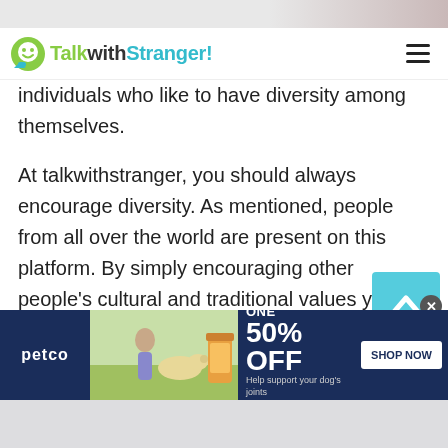[Figure (screenshot): Top decorative image strip with pink/gray colors]
TalkwithStranger!
individuals who like to have diversity among themselves.
At talkwithstranger, you should always encourage diversity. As mentioned, people from all over the world are present on this platform. By simply encouraging other people's cultural and traditional values you will become an ambassador for diversity. This will automatically attract people to chat with you. So, chat with people of Estonia and all other countries that you like with ease.
[Figure (infographic): Petco advertisement banner: BUY ONE, GET ONE 50% OFF - Help support your dog's joints with a premium supplement. SHOP NOW button. Shows woman with dog and supplement product.]